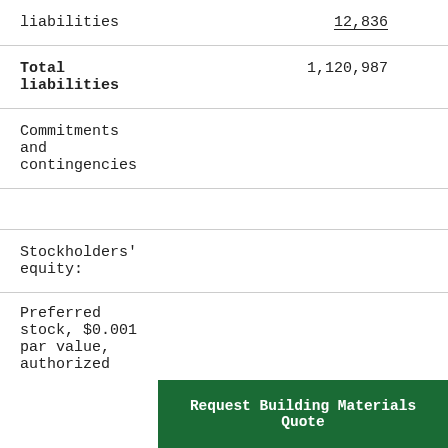|  | Col1 | Col2 |
| --- | --- | --- |
| liabilities | 12,836 |  |
| Total liabilities | 1,120,987 | 1, |
| Commitments and contingencies |  |  |
|  |  |  |
| Stockholders' equity: |  |  |
| Preferred stock, $0.001 par value, authorized |  |  |